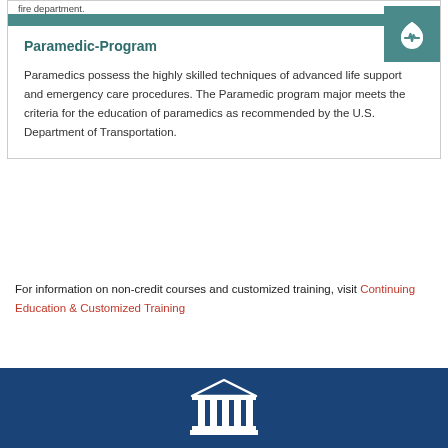fire department.
Paramedic-Program
Paramedics possess the highly skilled techniques of advanced life support and emergency care procedures. The Paramedic program major meets the criteria for the education of paramedics as recommended by the U.S. Department of Transportation.
For information on non-credit courses and customized training, visit Continuing Education & Customized Training
[Figure (logo): White building/institution icon on dark blue footer bar]